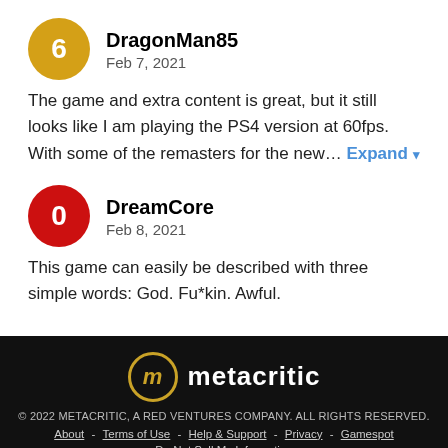DragonMan85
Feb 7, 2021
The game and extra content is great, but it still looks like I am playing the PS4 version at 60fps. With some of the remasters for the new… Expand
DreamCore
Feb 8, 2021
This game can easily be described with three simple words: God. Fu*kin. Awful.
[Figure (logo): Metacritic logo: stylized lowercase m in a circle with gold border, followed by the word metacritic in white bold text]
© 2022 METACRITIC, A RED VENTURES COMPANY. ALL RIGHTS RESERVED.
About - Terms of Use - Help & Support - Privacy - Gamespot
Do Not Sell My Information
See Full Site